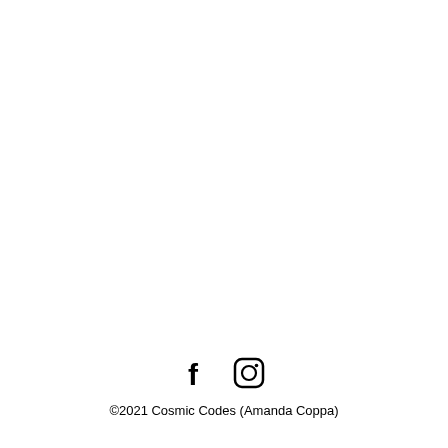[Figure (illustration): Social media icons: Facebook (f) and Instagram (camera icon)]
©2021 Cosmic Codes (Amanda Coppa)